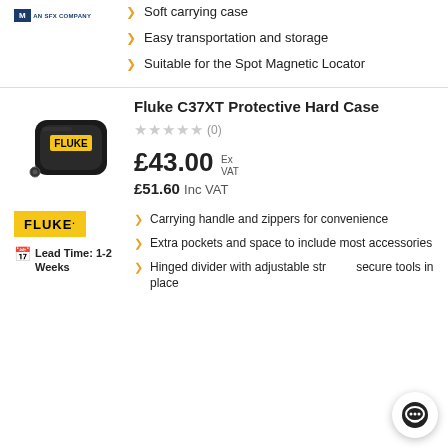[Figure (logo): Blue logo box with white text 'AN SFX COMPANY']
Soft carrying case
Easy transportation and storage
Suitable for the Spot Magnetic Locator
Fluke C37XT Protective Hard Case
★★★★★ (0)
£43.00 Ex VAT £51.60 Inc VAT
[Figure (photo): Black Fluke hard case with yellow Fluke logo and zipper pull]
[Figure (logo): Fluke yellow badge logo]
Lead Time: 1-2 Weeks
Carrying handle and zippers for convenience
Extra pockets and space to include most accessories
Hinged divider with adjustable strap to secure tools in place